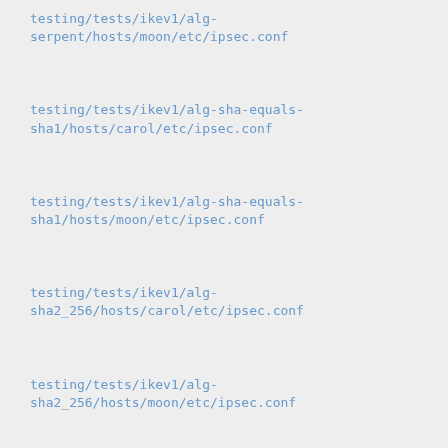testing/tests/ikev1/alg-serpent/hosts/moon/etc/ipsec.conf
testing/tests/ikev1/alg-sha-equals-sha1/hosts/carol/etc/ipsec.conf
testing/tests/ikev1/alg-sha-equals-sha1/hosts/moon/etc/ipsec.conf
testing/tests/ikev1/alg-sha2_256/hosts/carol/etc/ipsec.conf
testing/tests/ikev1/alg-sha2_256/hosts/moon/etc/ipsec.conf